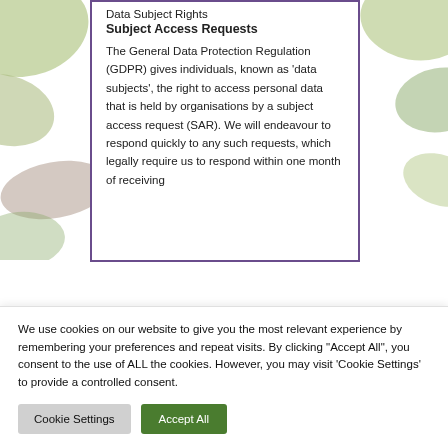Data Subject Rights
Subject Access Requests
The General Data Protection Regulation (GDPR) gives individuals, known as ‘data subjects’, the right to access personal data that is held by organisations by a subject access request (SAR). We will endeavour to respond quickly to any such requests, which legally require us to respond within one month of receiving
We use cookies on our website to give you the most relevant experience by remembering your preferences and repeat visits. By clicking “Accept All”, you consent to the use of ALL the cookies. However, you may visit ‘Cookie Settings’ to provide a controlled consent.
Cookie Settings
Accept All